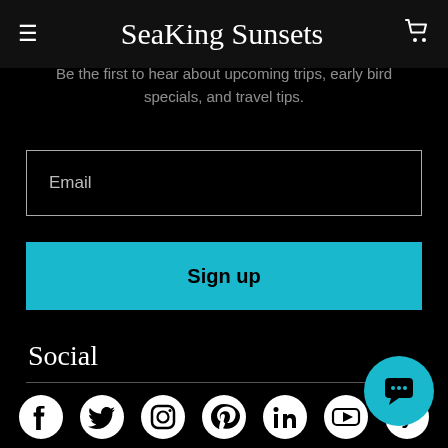SeaKing Sunsets
Join Our Mailing List
Be the first to hear about upcoming trips, early bird specials, and travel tips.
Email
Sign up
Social
[Figure (infographic): Social media icons row: Facebook, Twitter, Instagram, Pinterest, LinkedIn, YouTube, Yelp. Plus a teal circular chat bubble button.]